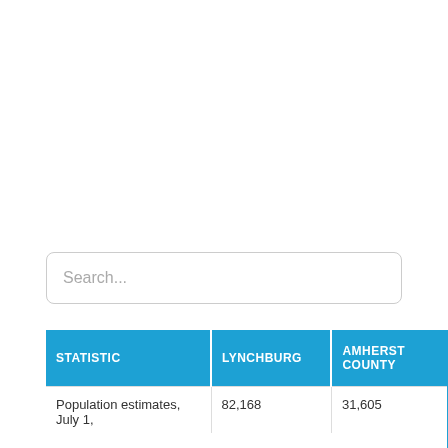Search...
| STATISTIC | LYNCHBURG | AMHERST COUNTY |
| --- | --- | --- |
| Population estimates, July 1, | 82,168 | 31,605 |